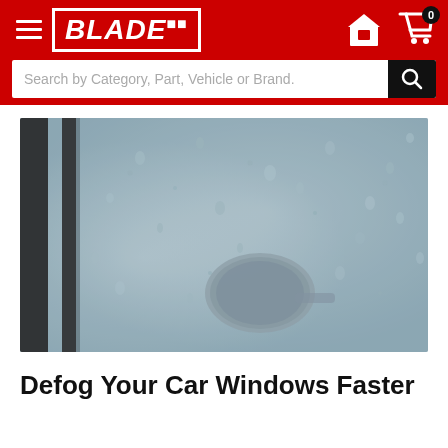BLADE
[Figure (screenshot): Blade auto parts website header with red background, hamburger menu, Blade logo, store icon, and cart icon with 0 items]
[Figure (photo): Close-up photo of a fogged/condensation-covered car window with a side mirror visible through the mist and water droplets]
Defog Your Car Windows Faster